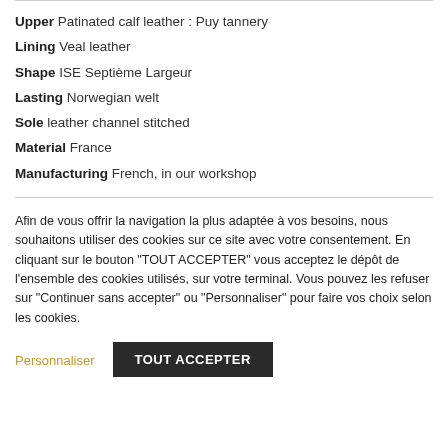Upper Patinated calf leather : Puy tannery
Lining Veal leather
Shape ISE Septième Largeur
Lasting Norwegian welt
Sole leather channel stitched
Material France
Manufacturing French, in our workshop
Afin de vous offrir la navigation la plus adaptée à vos besoins, nous souhaitons utiliser des cookies sur ce site avec votre consentement. En cliquant sur le bouton "TOUT ACCEPTER" vous acceptez le dépôt de l'ensemble des cookies utilisés, sur votre terminal. Vous pouvez les refuser sur "Continuer sans accepter" ou "Personnaliser" pour faire vos choix selon les cookies.
Personnaliser
TOUT ACCEPTER